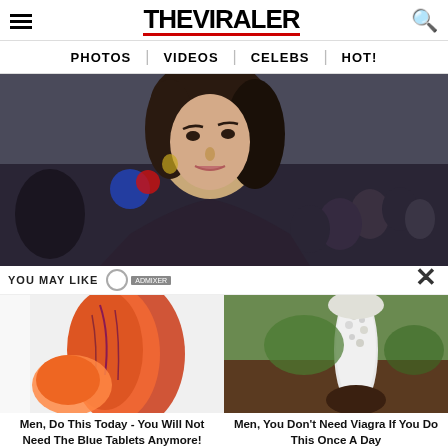THE VIRALER
PHOTOS | VIDEOS | CELEBS | HOT!
[Figure (photo): Close-up of a young dark-haired woman at a public event, crowd visible behind her]
YOU MAY LIKE
[Figure (photo): Advertisement image - colorful red and orange object]
Men, Do This Today - You Will Not Need The Blue Tablets Anymore!
[Figure (photo): Advertisement image - white mushroom-like object in a natural setting]
Men, You Don't Need Viagra If You Do This Once A Day